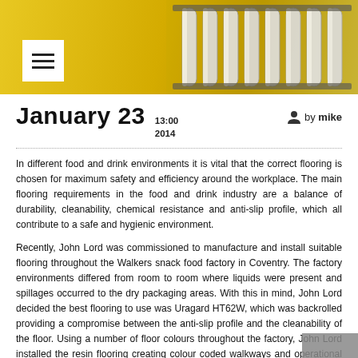[Figure (photo): Header image showing yellow/gold industrial conveyor rollers with a white menu hamburger icon overlay on the left side]
January 23  13:00 2014  by mike
In different food and drink environments it is vital that the correct flooring is chosen for maximum safety and efficiency around the workplace. The main flooring requirements in the food and drink industry are a balance of durability, cleanability, chemical resistance and anti-slip profile, which all contribute to a safe and hygienic environment.
Recently, John Lord was commissioned to manufacture and install suitable flooring throughout the Walkers snack food factory in Coventry. The factory environments differed from room to room where liquids were present and spillages occurred to the dry packaging areas. With this in mind, John Lord decided the best flooring to use was Uragard HT62W, which was backrolled providing a compromise between the anti-slip profile and the cleanability of the floor. Using a number of floor colours throughout the factory, John Lord installed the resin flooring creating colour coded walkways and operational areas